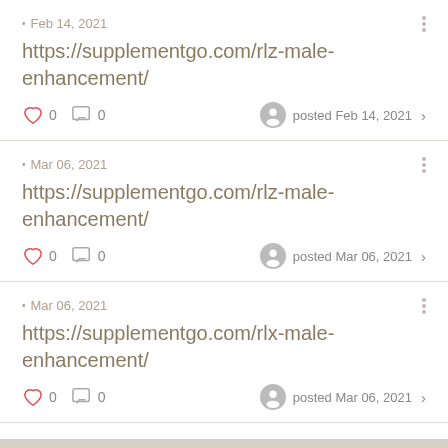Feb 14, 2021
https://supplementgo.com/rlz-male-enhancement/
0  0  posted Feb 14, 2021
Mar 06, 2021
https://supplementgo.com/rlz-male-enhancement/
0  0  posted Mar 06, 2021
Mar 06, 2021
https://supplementgo.com/rlx-male-enhancement/
0  0  posted Mar 06, 2021